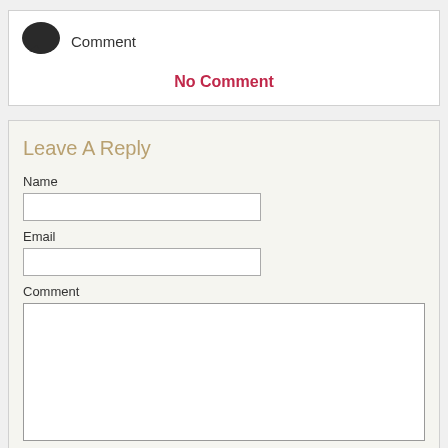Comment
No Comment
Leave A Reply
Name
Email
Comment